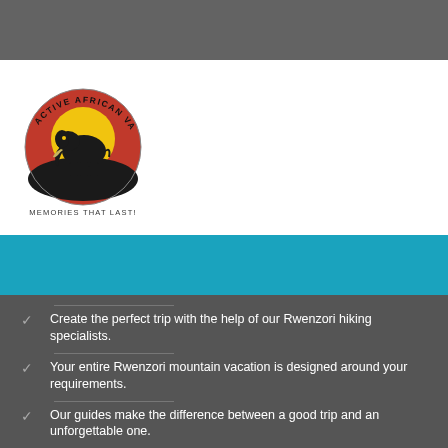[Figure (logo): Active African Vacations circular logo with elephant silhouette against red and yellow sunset, text 'ACTIVE AFRICAN VACATIONS' around the circle, and 'MEMORIES THAT LAST!' below]
Create the perfect trip with the help of our Rwenzori hiking specialists.
Your entire Rwenzori mountain vacation is designed around your requirements.
Our guides make the difference between a good trip and an unforgettable one.